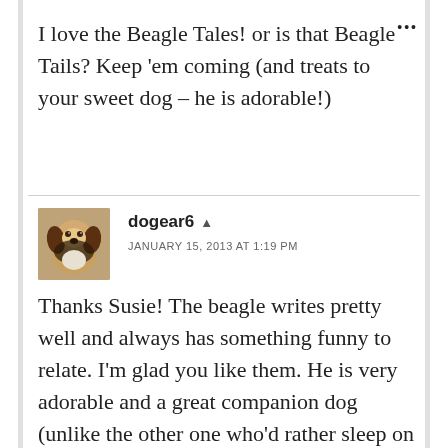I love the Beagle Tales! or is that Beagle Tails? Keep 'em coming (and treats to your sweet dog – he is adorable!)
[Figure (photo): Avatar photo of a beagle dog sitting, brown/black/white coloring, used as commenter profile picture]
dogear6
JANUARY 15, 2013 AT 1:19 PM
Thanks Susie! The beagle writes pretty well and always has something funny to relate. I'm glad you like them. He is very adorable and a great companion dog (unlike the other one who'd rather sleep on the couch).